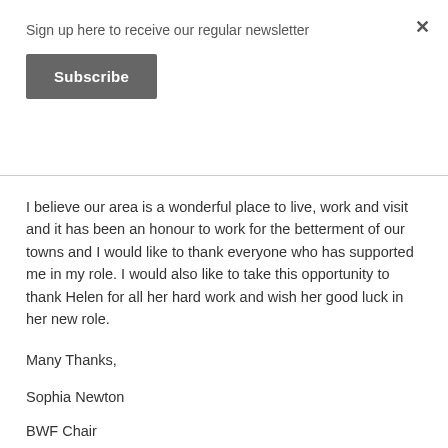Sign up here to receive our regular newsletter
Subscribe
I believe our area is a wonderful place to live, work and visit and it has been an honour to work for the betterment of our towns and I would like to thank everyone who has supported me in my role. I would also like to take this opportunity to thank Helen for all her hard work and wish her good luck in her new role.
Many Thanks,
Sophia Newton
BWF Chair